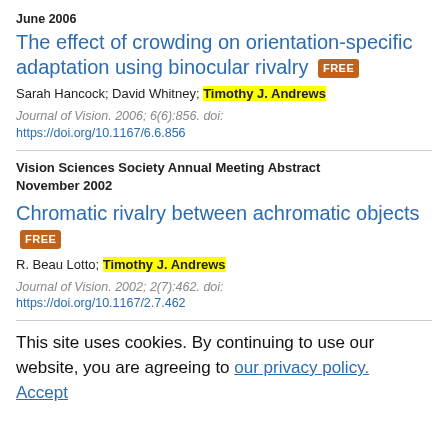June 2006
The effect of crowding on orientation-specific adaptation using binocular rivalry FREE
Sarah Hancock; David Whitney; Timothy J. Andrews
Journal of Vision. 2006; 6(6):856. doi: https://doi.org/10.1167/6.6.856
Vision Sciences Society Annual Meeting Abstract November 2002
Chromatic rivalry between achromatic objects FREE
R. Beau Lotto; Timothy J. Andrews
Journal of Vision. 2002; 2(7):462. doi: https://doi.org/10.1167/2.7.462
This site uses cookies. By continuing to use our website, you are agreeing to our privacy policy. Accept